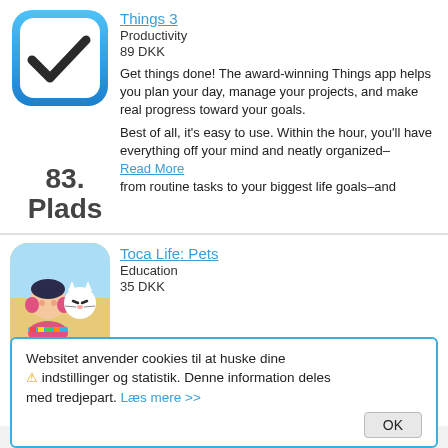[Figure (screenshot): Things 3 app icon: white rounded square with blue border and dark checkmark]
Things 3
Productivity
89 DKK
Get things done! The award-winning Things app helps you plan your day, manage your projects, and make real progress toward your goals.
83.
Plads
Best of all, it's easy to use. Within the hour, you'll have everything off your mind and neatly organized–
Read More
from routine tasks to your biggest life goals–and
[Figure (screenshot): Toca Life: Pets app icon showing a child character with a white cat]
Toca Life: Pets
Education
35 DKK
Welcome to Toca Life: Pets, where you and your animal friends run the show! What's your favorite pet
Pets
P
Websitet anvender cookies til at huske dine ⚠ indstillinger og statistik. Denne information deles med tredjepart. Læs mere >>
OK